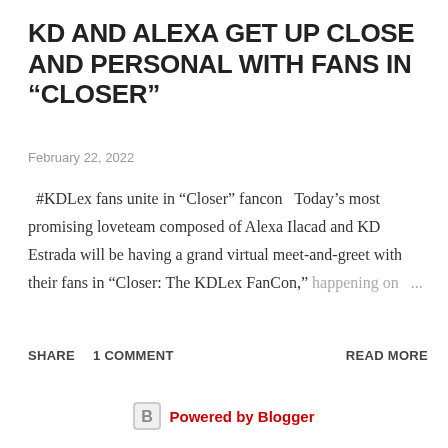KD AND ALEXA GET UP CLOSE AND PERSONAL WITH FANS IN “CLOSER”
February 22, 2022
#KDLex fans unite in “Closer” fancon  Today’s most promising loveteam composed of Alexa Ilacad and KD Estrada will be having a grand virtual meet-and-greet with their fans in “Closer: The KDLex FanCon,” happening on …
SHARE    1 COMMENT    READ MORE
Powered by Blogger